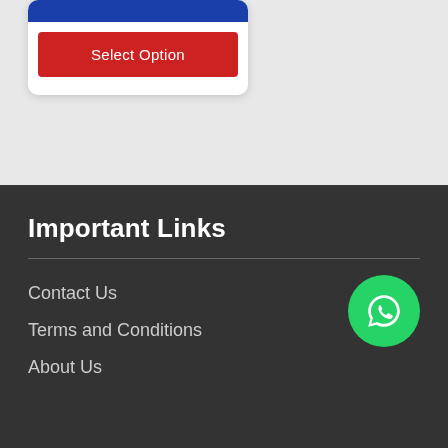[Figure (screenshot): A card UI element with a blue bar at top and a red 'Select Option' button below, on a light grey background]
Important Links
Contact Us
Terms and Conditions
About Us
[Figure (logo): WhatsApp green circular button with white phone/chat icon]